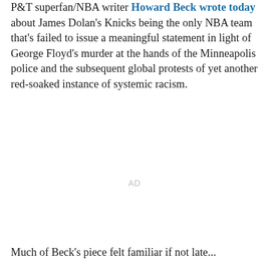P&T superfan/NBA writer Howard Beck wrote today about James Dolan's Knicks being the only NBA team that's failed to issue a meaningful statement in light of George Floyd's murder at the hands of the Minneapolis police and the subsequent global protests of yet another red-soaked instance of systemic racism.
AD
Much of Beck's piece felt familiar if not late...